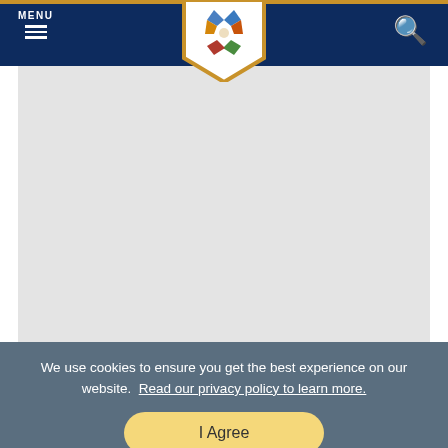MENU [hamburger icon] [logo] [search icon]
[Figure (screenshot): Gray placeholder content area below navigation header]
We use cookies to ensure you get the best experience on our website. Read our privacy policy to learn more.
I Agree
PRICING